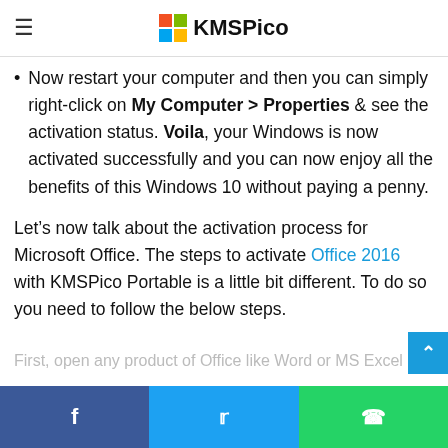KMSPico
seconds until you hear the voice notification. "Affirmative... ij".
Now restart your computer and then you can simply right-click on My Computer > Properties & see the activation status. Voila, your Windows is now activated successfully and you can now enjoy all the benefits of this Windows 10 without paying a penny.
Let’s now talk about the activation process for Microsoft Office. The steps to activate Office 2016 with KMSPico Portable is a little bit different. To do so you need to follow the below steps.
First, open any product of Office like Word or MS Excel